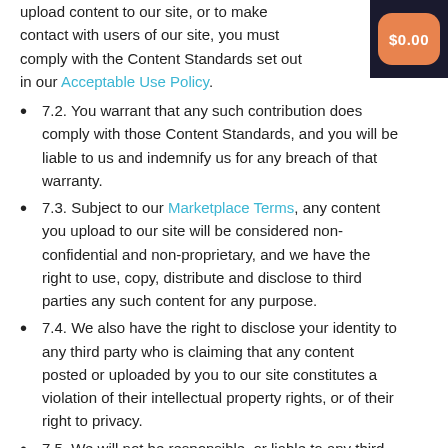upload content to our site, or to make contact with users of our site, you must comply with the Content Standards set out in our Acceptable Use Policy.
7.2. You warrant that any such contribution does comply with those Content Standards, and you will be liable to us and indemnify us for any breach of that warranty.
7.3. Subject to our Marketplace Terms, any content you upload to our site will be considered non-confidential and non-proprietary, and we have the right to use, copy, distribute and disclose to third parties any such content for any purpose.
7.4. We also have the right to disclose your identity to any third party who is claiming that any content posted or uploaded by you to our site constitutes a violation of their intellectual property rights, or of their right to privacy.
7.5. We will not be responsible, or liable to any third party, for the content or accuracy of any content posted by you or any other user of our site.